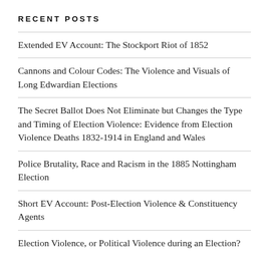RECENT POSTS
Extended EV Account: The Stockport Riot of 1852
Cannons and Colour Codes: The Violence and Visuals of Long Edwardian Elections
The Secret Ballot Does Not Eliminate but Changes the Type and Timing of Election Violence: Evidence from Election Violence Deaths 1832-1914 in England and Wales
Police Brutality, Race and Racism in the 1885 Nottingham Election
Short EV Account: Post-Election Violence & Constituency Agents
Election Violence, or Political Violence during an Election?